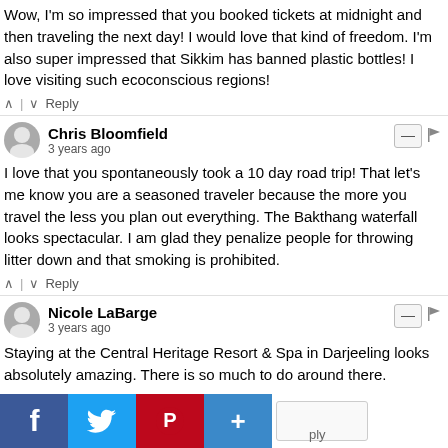Wow, I'm so impressed that you booked tickets at midnight and then traveling the next day! I would love that kind of freedom. I'm also super impressed that Sikkim has banned plastic bottles! I love visiting such ecoconscious regions!
^ | v Reply
Chris Bloomfield
3 years ago
I love that you spontaneously took a 10 day road trip! That let's me know you are a seasoned traveler because the more you travel the less you plan out everything. The Bakthang waterfall looks spectacular. I am glad they penalize people for throwing litter down and that smoking is prohibited.
^ | v Reply
Nicole LaBarge
3 years ago
Staying at the Central Heritage Resort & Spa in Darjeeling looks absolutely amazing. There is so much to do around there.
[Figure (other): Social share buttons bar at bottom: Facebook, Twitter, Pinterest, Add(+) buttons and a share box]